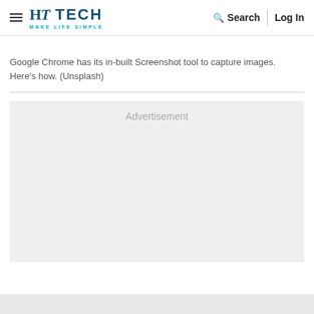HT TECH MAKE LIFE SIMPLE — Search | Log In
Google Chrome has its in-built Screenshot tool to capture images. Here's how. (Unsplash)
[Figure (other): Advertisement placeholder box with light gray background]